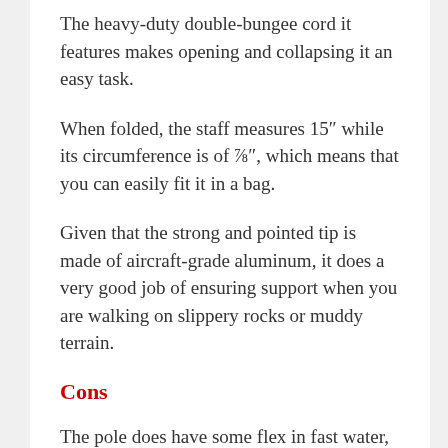The heavy-duty double-bungee cord it features makes opening and collapsing it an easy task.
When folded, the staff measures 15″ while its circumference is of ⅝″, which means that you can easily fit it in a bag.
Given that the strong and pointed tip is made of aircraft-grade aluminum, it does a very good job of ensuring support when you are walking on slippery rocks or muddy terrain.
Cons
The pole does have some flex in fast water, so make sure that you take all the necessary precautions if you intend to use your pole in...